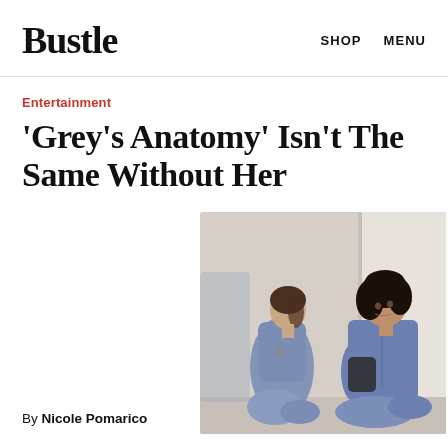Bustle  SHOP  MENU
Entertainment
'Grey's Anatomy' Isn't The Same Without Her
[Figure (photo): Two women in blue hospital scrubs sitting against a wall in a hospital corridor, one looking at the other. Scene from Grey's Anatomy.]
By Nicole Pomarico